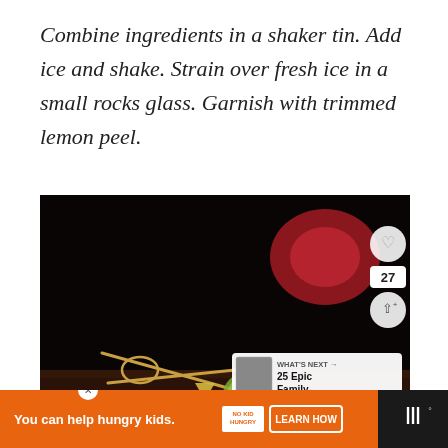Combine ingredients in a shaker tin. Add ice and shake. Strain over fresh ice in a small rocks glass. Garnish with trimmed lemon peel.
[Figure (photo): A cocktail in a rocks glass garnished with a knotted bamboo skewer holding a triangular piece of lemon peel and a lime wheel, set against a dark background with a blurred red light. UI overlays show a heart button, share count of 27, a share button, and a 'What's Next' card showing '25 Epic Family-...']
[Figure (screenshot): Orange advertisement bar at the bottom: 'You can help hungry kids.' with No Kid Hungry logo and a 'LEARN HOW' button. A close (X) button appears above it. Right side shows a dark panel with a weather/app icon.]